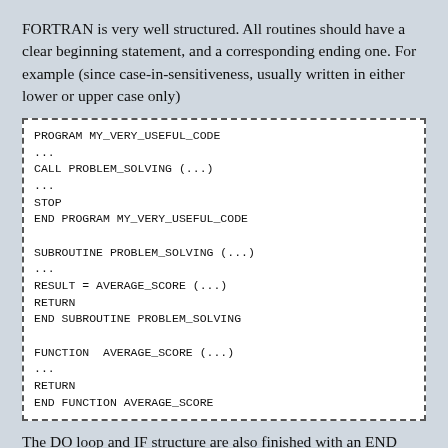FORTRAN is very well structured. All routines should have a clear beginning statement, and a corresponding ending one. For example (since case-in-sensitiveness, usually written in either lower or upper case only)
[Figure (screenshot): Code box with dashed border showing FORTRAN program structure: PROGRAM MY_VERY_USEFUL_CODE, ..., CALL PROBLEM_SOLVING (...), ..., STOP, END PROGRAM MY_VERY_USEFUL_CODE, SUBROUTINE PROBLEM_SOLVING (...), ..., RESULT = AVERAGE_SCORE (...), RETURN, END SUBROUTINE PROBLEM_SOLVING, FUNCTION AVERAGE_SCORE (...), ..., RETURN, END FUNCTION AVERAGE_SCORE]
The DO loop and IF structure are also finished with an END statement.
[Figure (screenshot): Code box with dashed border showing DO loop: DO I = ISTART, IEND, ..., END DO (partial, cut off)]